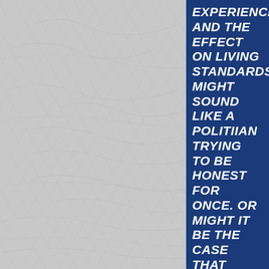[Figure (photo): Textured light gray background resembling plaster or concrete wall, occupying the left portion of the page]
EXPERIENCING AND THE EFFECT ON LIVING STANDARDS MIGHT SOUND LIKE A POLITIIAN TRYING TO BE HONEST FOR ONCE. OR MIGHT IT BE THE CASE THAT